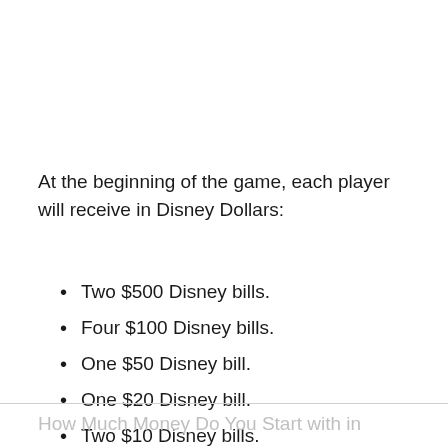At the beginning of the game, each player will receive in Disney Dollars:
Two $500 Disney bills.
Four $100 Disney bills.
One $50 Disney bill.
One $20 Disney bill.
Two $10 Disney bills.
One $5 Disney bill.
Five $1 Disney bills.
How Much Money Do You Start with in